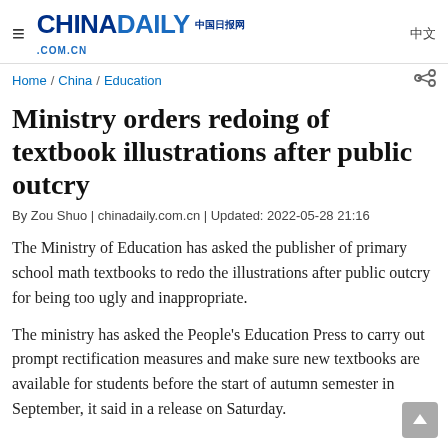CHINADAILY 中国日报网 .COM.CN 中文
Home / China / Education
Ministry orders redoing of textbook illustrations after public outcry
By Zou Shuo | chinadaily.com.cn | Updated: 2022-05-28 21:16
The Ministry of Education has asked the publisher of primary school math textbooks to redo the illustrations after public outcry for being too ugly and inappropriate.
The ministry has asked the People's Education Press to carry out prompt rectification measures and make sure new textbooks are available for students before the start of autumn semester in September, it said in a release on Saturday.